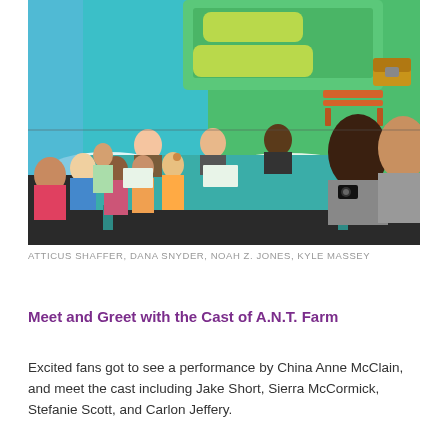[Figure (photo): Indoor event photo showing cast members at a signing table with a teal tablecloth, fans gathered around, and a large Fish Hooks animated backdrop/stage set in the background with blue and green tones.]
ATTICUS SHAFFER, DANA SNYDER, NOAH Z. JONES, KYLE MASSEY
Meet and Greet with the Cast of A.N.T. Farm
Excited fans got to see a performance by China Anne McClain, and meet the cast including Jake Short, Sierra McCormick, Stefanie Scott, and Carlon Jeffery.